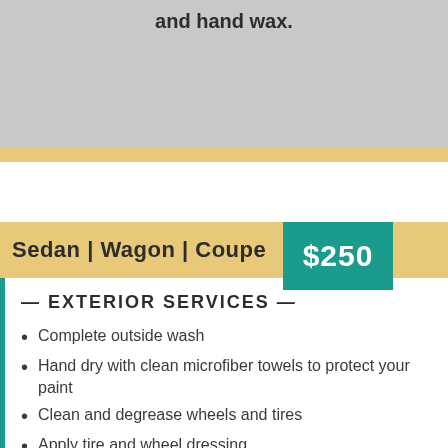and hand wax.
Sedan | Wagon | Coupe  $250
— EXTERIOR SERVICES —
Complete outside wash
Hand dry with clean microfiber towels to protect your paint
Clean and degrease wheels and tires
Apply tire and wheel dressing
Clean all door jambs and trunk seals
Clean exterior windows
Clay Bar all painted surfaces to remove harmful